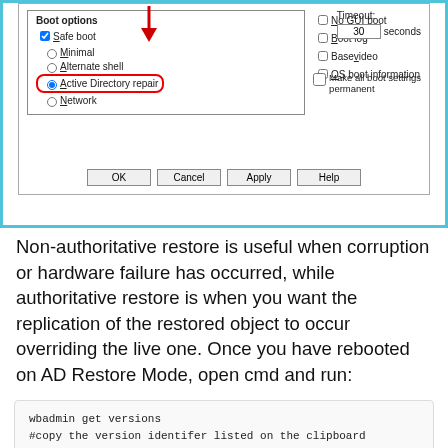[Figure (screenshot): Windows System Configuration dialog showing Boot tab with Boot options panel. 'Safe boot' checkbox is checked with a red arrow pointing to it. 'Active Directory repair' radio button is selected and highlighted with a red oval border. Other options visible: Minimal, Alternate shell, Network (radio buttons), No GUI boot, Boot log, Base video, OS boot information (checkboxes), Timeout set to 30 seconds, Make all boot settings permanent checkbox. OK, Cancel, Apply, Help buttons at bottom.]
Non-authoritative restore is useful when corruption or hardware failure has occurred, while authoritative restore is when you want the replication of the restored object to occur overriding the live one. Once you have rebooted on AD Restore Mode, open cmd and run: